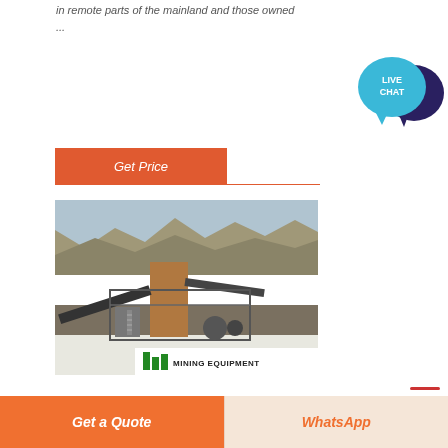in remote parts of the mainland and those owned ...
[Figure (other): Orange 'Get Price' button on a white background with a red divider line.]
[Figure (photo): Mining equipment / crusher in a quarry with rocky hillside backdrop, white base panel with 'MINING EQUIPMENT' logo and green bars logo.]
[Figure (other): Live chat widget with teal speech bubble (LIVE CHAT) and dark blue chat bubble icon in top right sidebar.]
[Figure (other): Bottom bar with orange 'Get a Quote' button on left and light 'WhatsApp' button in orange italic text on right.]